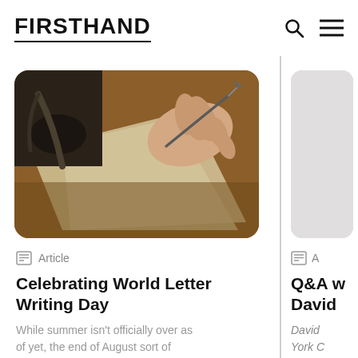FIRSTHAND
[Figure (photo): Close-up photo of a hand holding a calligraphy pen writing on old parchment paper on a wooden desk, with a dark feather quill in the background.]
Article
Celebrating World Letter Writing Day
While summer isn't officially over as of yet, the end of August sort of marks the beginning of a new phase...
[Figure (photo): Partially visible second article image (light gray placeholder).]
A
Q&A with David
David York C...